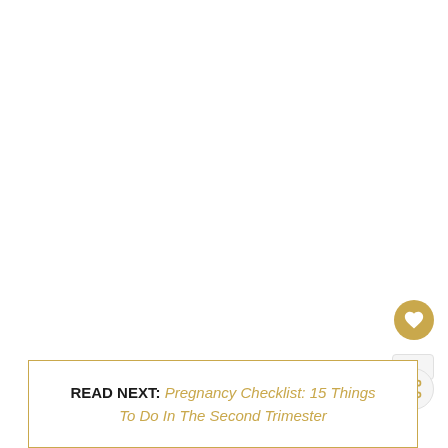[Figure (photo): Large white/blank image area occupying the upper portion of the page]
READ NEXT: Pregnancy Checklist: 15 Things To Do In The Second Trimester